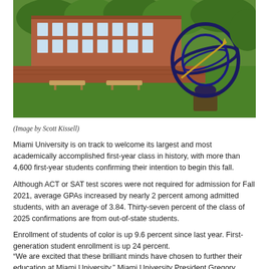[Figure (photo): Outdoor campus photo of Miami University showing a brick building with green trees, a brick wall with benches, green lawn, and a large metal armillary sphere sculpture in the foreground right.]
(Image by Scott Kissell)
Miami University is on track to welcome its largest and most academically accomplished first-year class in history, with more than 4,600 first-year students confirming their intention to begin this fall.
Although ACT or SAT test scores were not required for admission for Fall 2021, average GPAs increased by nearly 2 percent among admitted students, with an average of 3.84. Thirty-seven percent of the class of 2025 confirmations are from out-of-state students.
Enrollment of students of color is up 9.6 percent since last year. First-generation student enrollment is up 24 percent.
“We are excited that these brilliant minds have chosen to further their education at Miami University,” Miami University President Gregory Crawford